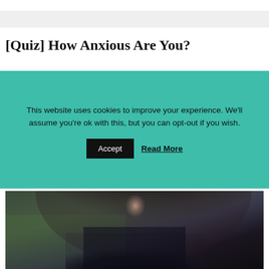[Quiz] How Anxious Are You?
This website uses cookies to improve your experience. We'll assume you're ok with this, but you can opt-out if you wish. Accept  Read More
[Figure (photo): A young woman with long dark hair wearing a black leather jacket, looking thoughtful, outdoors with greenery in background.]